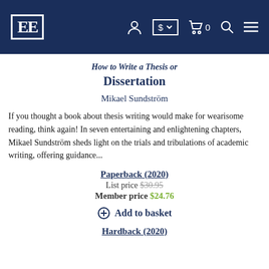EE [logo] navigation bar with account, currency, cart, search, menu icons
How to Write a Thesis or Dissertation
Mikael Sundström
If you thought a book about thesis writing would make for wearisome reading, think again! In seven entertaining and enlightening chapters, Mikael Sundström sheds light on the trials and tribulations of academic writing, offering guidance...
Paperback (2020)
List price $30.95
Member price $24.76
Add to basket
Hardback (2020)